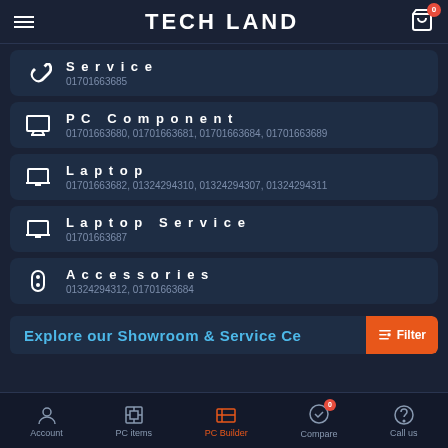TECH LAND
Service
01701663685
PC Component
01701663680, 01701663681, 01701663684, 01701663689
Laptop
01701663682, 01324294310, 01324294307, 01324294311
Laptop Service
01701663687
Accessories
01324294312, 01701663684
Explore our Showroom & Service Ce...
Account | PC items | PC Builder | Compare | Call us